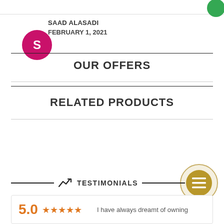[Figure (other): Partially visible top navigation bar with green bubble icon in top-right corner]
SAAD ALASADI
FEBRUARY 1, 2021
OUR OFFERS
RELATED PRODUCTS
TESTIMONIALS
[Figure (other): Gold circle button with list/menu icon]
5.0 ★★★★★ I have always dreamt of owning